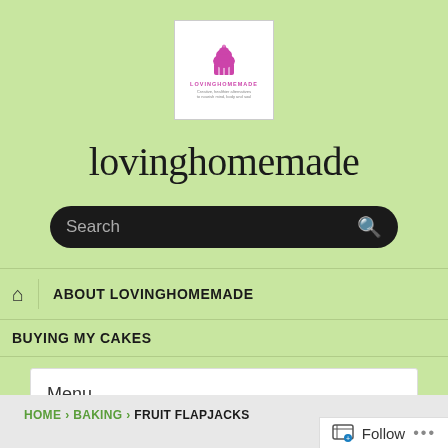[Figure (logo): Lovinghomemade cupcake logo in white box with pink cupcake icon, site name LOVINGHOMEMADE, and tagline text]
lovinghomemade
Search
ABOUT LOVINGHOMEMADE
BUYING MY CAKES
Menu
HOME › BAKING › FRUIT FLAPJACKS
Follow